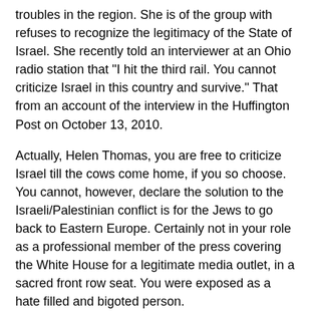troubles in the region. She is of the group with refuses to recognize the legitimacy of the State of Israel. She recently told an interviewer at an Ohio radio station that "I hit the third rail. You cannot criticize Israel in this country and survive." That from an account of the interview in the Huffington Post on October 13, 2010.
Actually, Helen Thomas, you are free to criticize Israel till the cows come home, if you so choose. You cannot, however, declare the solution to the Israeli/Palestinian conflict is for the Jews to go back to Eastern Europe. Certainly not in your role as a professional member of the press covering the White House for a legitimate media outlet, in a sacred front row seat. You were exposed as a hate filled and bigoted person.
After she was fired in June, for stating that Jews should "get out of Palestine", she kept a low profile. She told the radio personality that President Obama's remarks about the incident are "unfair". Obama said her remarks were "offensive and out of line". This hurt uber-liberal Thomas' feelings. In audio clip of the radio interview Thomas is